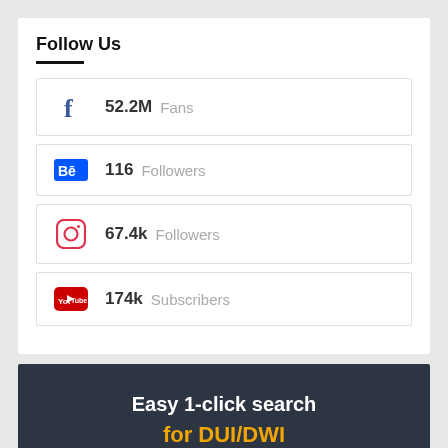Follow Us
52.2M Fans (Facebook)
116 Followers (Behance)
67.4k Followers (Instagram)
174k Subscribers (YouTube)
[Figure (infographic): Dark banner advertisement for DUI/DWI records search service. Text reads: Easy 1-click search for DUI/DWI Records and Driving records, with a partial circular graphic at the bottom.]